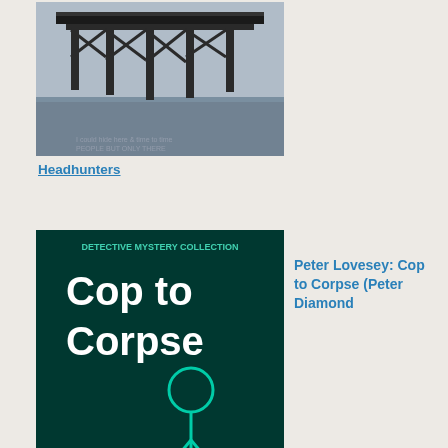[Figure (photo): Book cover of Headhunters showing a pier/bridge structure over water in black and white]
Headhunters
[Figure (photo): Book cover of Cop to Corpse by Peter Lovesey showing teal outline figures on dark background]
Peter Lovesey: Cop to Corpse (Peter Diamond Investigation)
[Figure (photo): Book cover of Murder on the Short List by Peter Lovesey showing silhouette of person on reflective surface]
Peter Lovesey: Murder on the Short List
go
up
to
Lon
this
we
Aft
a
few
we
I
suf
wit
syn
if  I
do
not
hug
Flo
or
Be
An
of